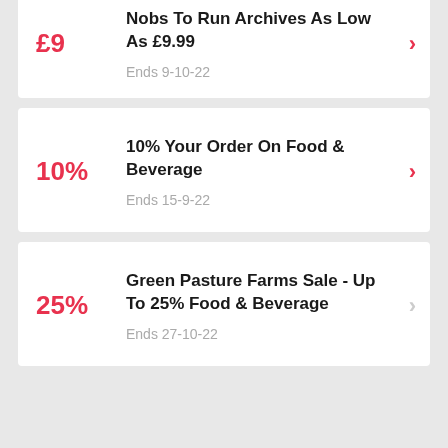£9 — Nobs To Run Archives As Low As £9.99 — Ends 9-10-22
10% — 10% Your Order On Food & Beverage — Ends 15-9-22
25% — Green Pasture Farms Sale - Up To 25% Food & Beverage — Ends 27-10-22